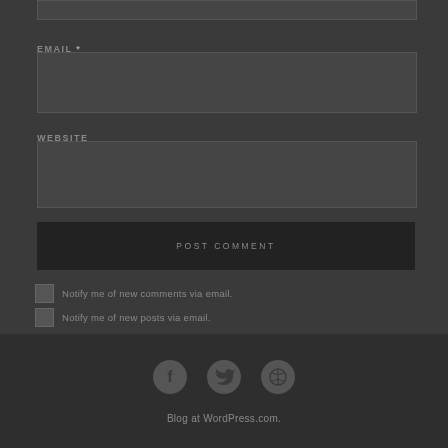EMAIL *
WEBSITE
POST COMMENT
Notify me of new comments via email.
Notify me of new posts via email.
[Figure (illustration): Social media icons: Facebook, Twitter, Dribbble]
Blog at WordPress.com.